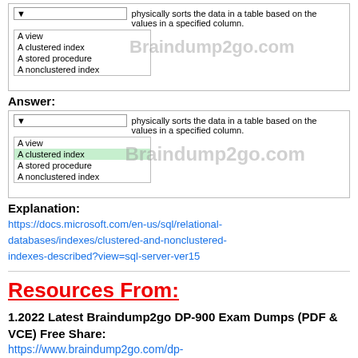[Figure (screenshot): Dropdown question UI showing options: A view, A clustered index, A stored procedure, A nonclustered index, with text 'physically sorts the data in a table based on the values in a specified column.']
Answer:
[Figure (screenshot): Answer UI showing same dropdown with 'A clustered index' highlighted in green, options: A view, A clustered index, A stored procedure, A nonclustered index, with text 'physically sorts the data in a table based on the values in a specified column.']
Explanation:
https://docs.microsoft.com/en-us/sql/relational-databases/indexes/clustered-and-nonclustered-indexes-described?view=sql-server-ver15
Resources From:
1.2022 Latest Braindump2go DP-900 Exam Dumps (PDF & VCE) Free Share:
https://www.braindump2go.com/dp-